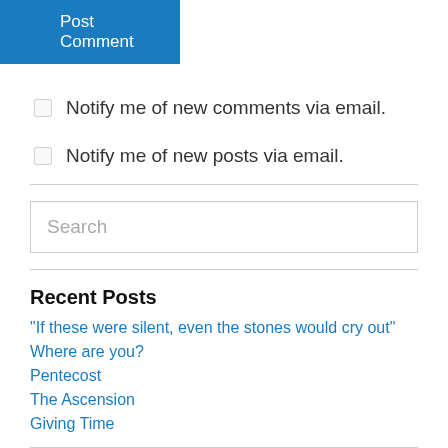Post Comment
Notify me of new comments via email.
Notify me of new posts via email.
Search
Recent Posts
“If these were silent, even the stones would cry out”
Where are you?
Pentecost
The Ascension
Giving Time